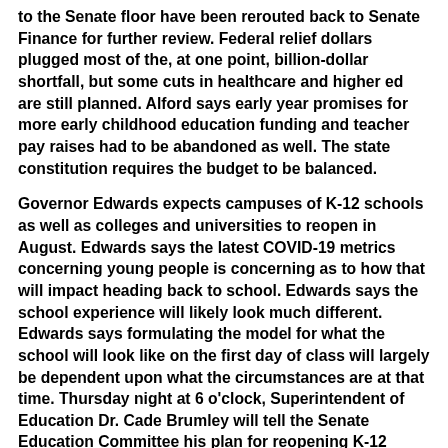to the Senate floor have been rerouted back to Senate Finance for further review. Federal relief dollars plugged most of the, at one point, billion-dollar shortfall, but some cuts in healthcare and higher ed are still planned. Alford says early year promises for more early childhood education funding and teacher pay raises had to be abandoned as well. The state constitution requires the budget to be balanced.
Governor Edwards expects campuses of K-12 schools as well as colleges and universities to reopen in August. Edwards says the latest COVID-19 metrics concerning young people is concerning as to how that will impact heading back to school. Edwards says the school experience will likely look much different. Edwards says formulating the model for what the school will look like on the first day of class will largely be dependent upon what the circumstances are at that time. Thursday night at 6 o'clock, Superintendent of Education Dr. Cade Brumley will tell the Senate Education Committee his plan for reopening K-12 schools.